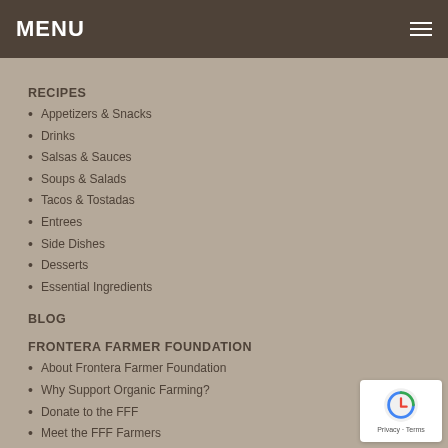MENU
RECIPES
Appetizers & Snacks
Drinks
Salsas & Sauces
Soups & Salads
Tacos & Tostadas
Entrees
Side Dishes
Desserts
Essential Ingredients
BLOG
FRONTERA FARMER FOUNDATION
About Frontera Farmer Foundation
Why Support Organic Farming?
Donate to the FFF
Meet the FFF Farmers
SHOPPING
Our E-Store
Restaurant Gift Cards